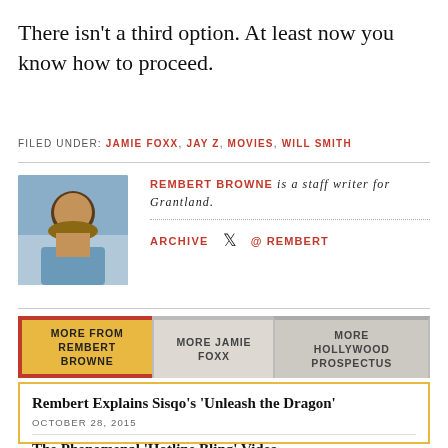There isn’t a third option. At least now you know how to proceed.
FILED UNDER: JAMIE FOXX, JAY Z, MOVIES, WILL SMITH
[Figure (photo): Portrait photo of Rembert Browne, a smiling man wearing a blazer]
REMBERT BROWNE is a staff writer for Grantland.
ARCHIVE ✔ @REMBERT
MORE FROM REMBERT BROWNE | MORE JAMIE FOXX | MORE HOLLYWOOD PROSPECTUS
Rembert Explains Sisqo’s ‘Unleash the Dragon’ OCTOBER 28, 2015
The Phenomenal ‘Hotline Bling’ Video OCTOBER 20,